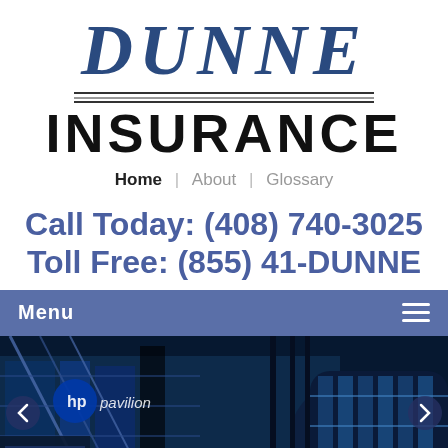[Figure (logo): Dunne Insurance company logo with large italic blue DUNNE text above decorative horizontal lines and bold black INSURANCE text below]
Home | About | Glossary
Call Today: (408) 740-3025
Toll Free: (855) 41-DUNNE
Menu ≡
[Figure (photo): Nighttime exterior photo of HP Pavilion arena in San Jose, showing the glass and steel structure lit in blue light, with palm trees silhouetted and a slideshow navigation arrow on each side]